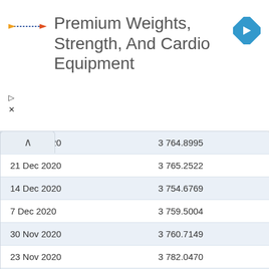[Figure (logo): Capitalist logo — small rocket/arrow icon in blue and orange dashes]
Premium Weights, Strength, And Cardio Equipment
[Figure (other): Blue diamond navigation/direction icon with white right-arrow]
| Date | Value |
| --- | --- |
| 28 Dec 2020 | 3 764.8995 |
| 21 Dec 2020 | 3 765.2522 |
| 14 Dec 2020 | 3 754.6769 |
| 7 Dec 2020 | 3 759.5004 |
| 30 Nov 2020 | 3 760.7149 |
| 23 Nov 2020 | 3 782.0470 |
| 16 Nov 2020 | 3 754.8896 |
| 9 Nov 2020 | 3 806.0651 |
| 2 Nov 2020 | 3 896.3799 |
| 26 Oct 2020 | 3 906.2228 |